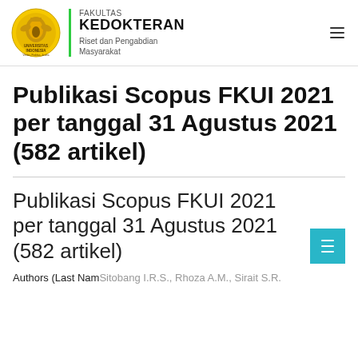[Figure (logo): Universitas Indonesia Fakultas Kedokteran logo with green divider and institutional text]
Publikasi Scopus FKUI 2021 per tanggal 31 Agustus 2021 (582 artikel)
Publikasi Scopus FKUI 2021 per tanggal 31 Agustus 2021 (582 artikel)
Authors (Last Nam Sitobang I.R.S., Rhoza A.M., Sirait S.R.